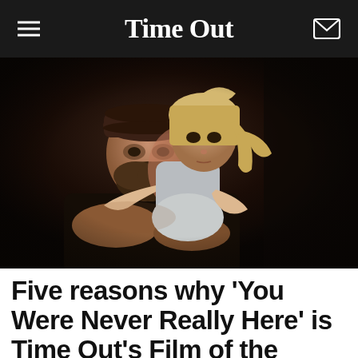Time Out
[Figure (photo): A bearded man wearing a dark cap and dark clothing crouches while a young blonde girl in a dress leans over his back, hugging him from behind. Both look toward the camera with serious expressions against a dark background.]
Five reasons why 'You Were Never Really Here' is Time Out's Film of the Month